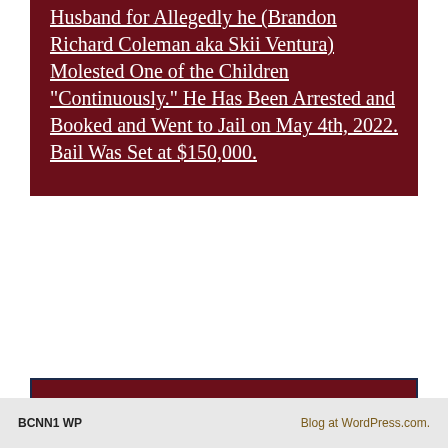Husband for Allegedly he (Brandon Richard Coleman aka Skii Ventura) Molested One of the Children "Continuously." He Has Been Arrested and Booked and Went to Jail on May 4th, 2022. Bail Was Set at $150,000.
BCNN1 on Twitter
Error: Please make sure the Twitter account is public.
BCNN1 WP | Blog at WordPress.com.